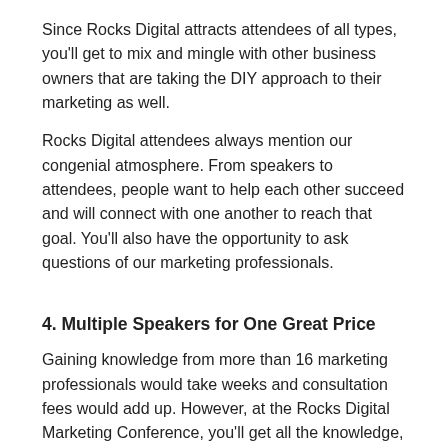Since Rocks Digital attracts attendees of all types, you'll get to mix and mingle with other business owners that are taking the DIY approach to their marketing as well.
Rocks Digital attendees always mention our congenial atmosphere. From speakers to attendees, people want to help each other succeed and will connect with one another to reach that goal. You'll also have the opportunity to ask questions of our marketing professionals.
4. Multiple Speakers for One Great Price
Gaining knowledge from more than 16 marketing professionals would take weeks and consultation fees would add up. However, at the Rocks Digital Marketing Conference, you'll get all the knowledge, all in one fast-paced day, all for one incredible price.
5. Get Out From Behind the Desk
Running a small business takes hard work and long hours, but taking a break to re-energize and re-engage is sometimes necessary. Attending the Rocks Digital Marketing Conference will